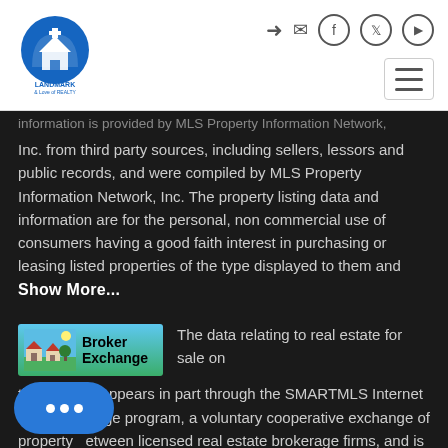[Figure (logo): Landmark & Love of Realty logo — blue arch/building icon with company name]
Inc. from third party sources, including sellers, lessors and public records, and were compiled by MLS Property Information Network, Inc. The property listing data and information are for the personal, non commercial use of consumers having a good faith interest in purchasing or leasing listed properties of the type displayed to them and   Show More...
[Figure (logo): Broker Exchange logo badge — colorful house icon with green/blue background]
The data relating to real estate for sale on this website appears in part through the SMARTMLS Internet Data Exchange program, a voluntary cooperative exchange of property between licensed real estate brokerage firms, and is provided by SMARTMLS through a licensing agreement. Listing